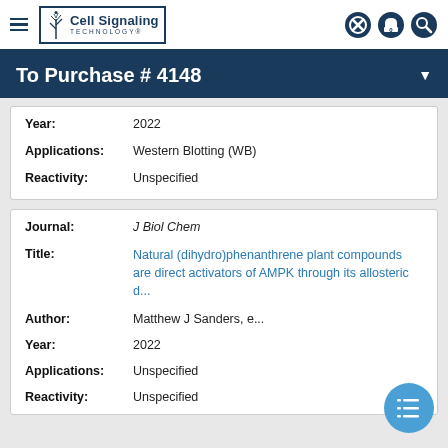Cell Signaling Technology
To Purchase # 4148
| Field | Value |
| --- | --- |
| Year: | 2022 |
| Applications: | Western Blotting (WB) |
| Reactivity: | Unspecified |
| Field | Value |
| --- | --- |
| Journal: | J Biol Chem |
| Title: | Natural (dihydro)phenanthrene plant compounds are direct activators of AMPK through its allosteric d... |
| Author: | Matthew J Sanders, e... |
| Year: | 2022 |
| Applications: | Unspecified |
| Reactivity: | Unspecified |